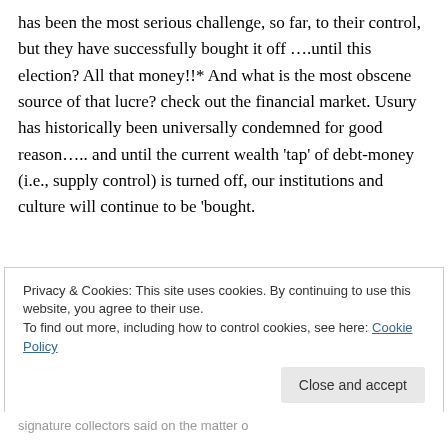has been the most serious challenge, so far, to their control, but they have successfully bought it off ….until this election? All that money!!* And what is the most obscene source of that lucre? check out the financial market. Usury has historically been universally condemned for good reason….. and until the current wealth 'tap' of debt-money (i.e., supply control) is turned off, our institutions and culture will continue to be 'bought.
Privacy & Cookies: This site uses cookies. By continuing to use this website, you agree to their use. To find out more, including how to control cookies, see here: Cookie Policy
Close and accept
signature collectors said on the matter o